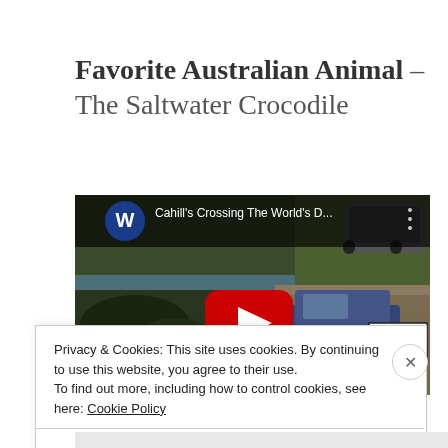Favorite Australian Animal – The Saltwater Crocodile
[Figure (screenshot): YouTube video thumbnail showing Cahill's Crossing with a car driving through water, rocks visible, a sign reading INDICATES DEEPEST POINT, and a YouTube play button overlay. Channel icon is a blue circle with W. Title reads: Cahill's Crossing The World's D...]
Privacy & Cookies: This site uses cookies. By continuing to use this website, you agree to their use.
To find out more, including how to control cookies, see here: Cookie Policy
Close and accept